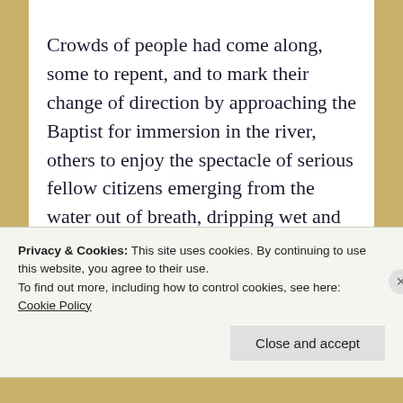Crowds of people had come along, some to repent, and to mark their change of direction by approaching the Baptist for immersion in the river, others to enjoy the spectacle of serious fellow citizens emerging from the water out of breath, dripping wet and undignified.

Having attended a few baptisms in my lifetime, I'd say that some things have changed, but the
Privacy & Cookies: This site uses cookies. By continuing to use this website, you agree to their use.
To find out more, including how to control cookies, see here: Cookie Policy

Close and accept